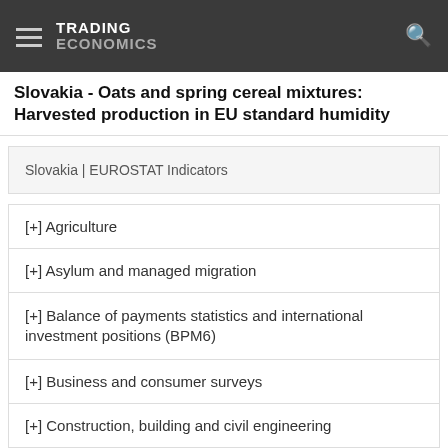TRADING ECONOMICS
Slovakia - Oats and spring cereal mixtures: Harvested production in EU standard humidity
Slovakia | EUROSTAT Indicators
[+] Agriculture
[+] Asylum and managed migration
[+] Balance of payments statistics and international investment positions (BPM6)
[+] Business and consumer surveys
[+] Construction, building and civil engineering
[+] Education